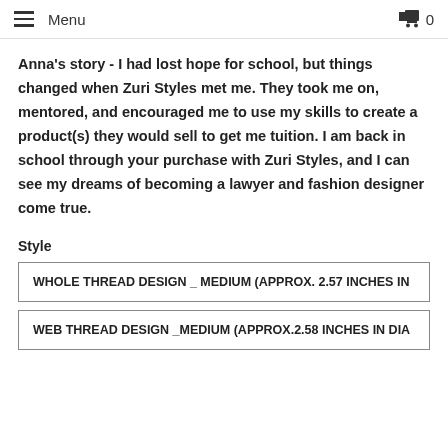≡ Menu  🛒 0
Anna's story - I had lost hope for school, but things changed when Zuri Styles met me. They took me on, mentored, and encouraged me to use my skills to create a product(s) they would sell to get me tuition. I am back in school through your purchase with Zuri Styles, and I can see my dreams of becoming a lawyer and fashion designer come true.
Style
WHOLE THREAD DESIGN _ MEDIUM (APPROX. 2.57 INCHES IN
WEB THREAD DESIGN _MEDIUM (APPROX.2.58 INCHES IN DIA